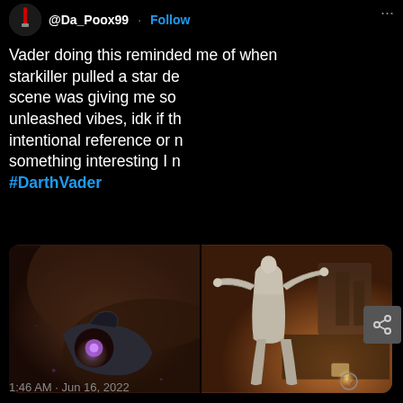@Da_Poox99 · Follow
Vader doing this reminded me of when starkiller pulled a star de scene was giving me so unleashed vibes, idk if th intentional reference or n something interesting I n #DarthVader
[Figure (screenshot): Two side-by-side video screenshots: left shows a dark close-up of a mechanical/gloved hand with purple light, right shows a character in white armor using force powers in a warmly lit scene]
1:46 AM · Jun 16, 2022